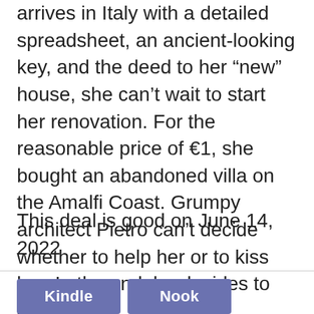arrives in Italy with a detailed spreadsheet, an ancient-looking key, and the deed to her “new” house, she can’t wait to start her renovation. For the reasonable price of €1, she bought an abandoned villa on the Amalfi Coast. Grumpy architect Pietro can’t decide whether to help her or to kiss her. In the end, he decides to do both.
This deal is good on June 14, 2022
[Figure (other): Two buttons: Kindle (blue/purple) and Nook (blue/purple)]